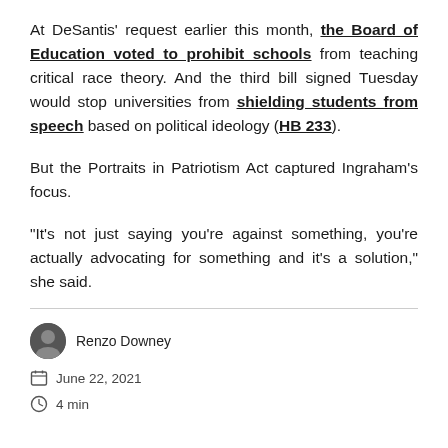At DeSantis' request earlier this month, the Board of Education voted to prohibit schools from teaching critical race theory. And the third bill signed Tuesday would stop universities from shielding students from speech based on political ideology (HB 233).
But the Portraits in Patriotism Act captured Ingraham's focus.
“It’s not just saying you’re against something, you’re actually advocating for something and it’s a solution,” she said.
Renzo Downey
June 22, 2021
4 min